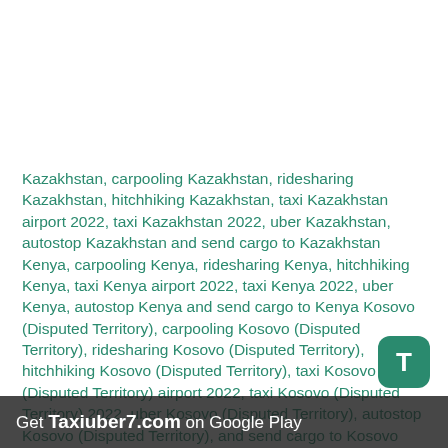Kazakhstan, carpooling Kazakhstan, ridesharing Kazakhstan, hitchhiking Kazakhstan, taxi Kazakhstan airport 2022, taxi Kazakhstan 2022, uber Kazakhstan, autostop Kazakhstan and send cargo to Kazakhstan Kenya, carpooling Kenya, ridesharing Kenya, hitchhiking Kenya, taxi Kenya airport 2022, taxi Kenya 2022, uber Kenya, autostop Kenya and send cargo to Kenya Kosovo (Disputed Territory), carpooling Kosovo (Disputed Territory), ridesharing Kosovo (Disputed Territory), hitchhiking Kosovo (Disputed Territory), taxi Kosovo (Disputed Territory) airport 2022, taxi Kosovo (Disputed Territory) 2022, uber Kosovo (Disputed Territory), autostop Kosovo (Disputed Territory) and send cargo to Kosovo (Disputed Territory)
Get Taxiuber7.com on Google Play